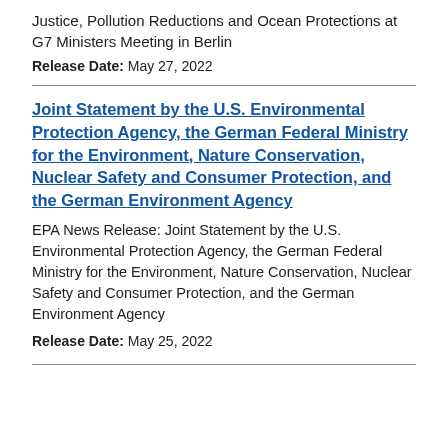Justice, Pollution Reductions and Ocean Protections at G7 Ministers Meeting in Berlin
Release Date: May 27, 2022
Joint Statement by the U.S. Environmental Protection Agency, the German Federal Ministry for the Environment, Nature Conservation, Nuclear Safety and Consumer Protection, and the German Environment Agency
EPA News Release: Joint Statement by the U.S. Environmental Protection Agency, the German Federal Ministry for the Environment, Nature Conservation, Nuclear Safety and Consumer Protection, and the German Environment Agency
Release Date: May 25, 2022